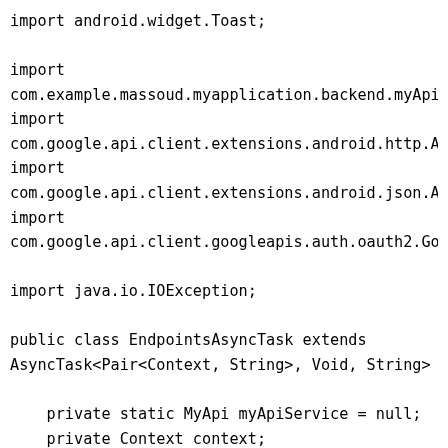import android.widget.Toast;

import
com.example.massoud.myapplication.backend.myApi.MyApi
import
com.google.api.client.extensions.android.http.Android
import
com.google.api.client.extensions.android.json.Android
import
com.google.api.client.googleapis.auth.oauth2.GoogleCr

import java.io.IOException;

public class EndpointsAsyncTask extends
AsyncTask<Pair<Context, String>, Void, String> {

    private static MyApi myApiService = null;
    private Context context;

    @Override